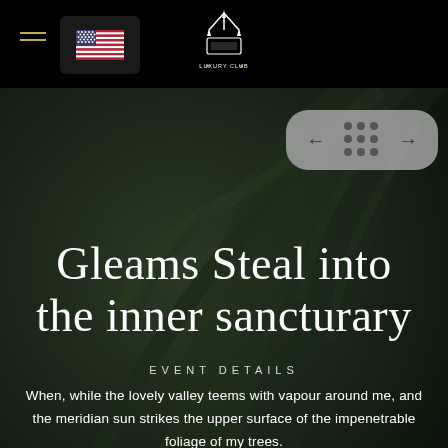[Figure (screenshot): Dark tropical leaf background filling the entire page]
Navigation bar with hamburger menu, US flag, and centered logo
[Figure (other): Navigation controls: left arrow, 3x3 dot grid, right arrow on grey pill background]
Gleams Steal into the inner sancturary
EVENT DETAILS
When, while the lovely valley teems with vapour around me, and the meridian sun strikes the upper surface of the impenetrable foliage of my trees.